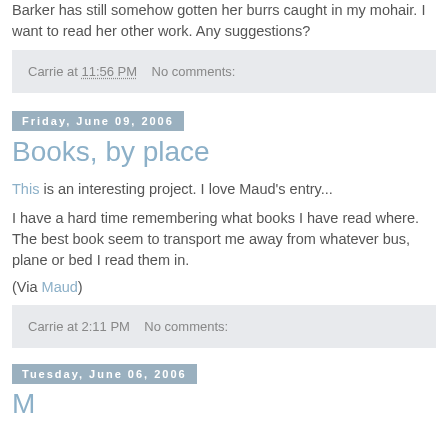Barker has still somehow gotten her burrs caught in my mohair. I want to read her other work. Any suggestions?
Carrie at 11:56 PM   No comments:
Friday, June 09, 2006
Books, by place
This is an interesting project. I love Maud's entry...
I have a hard time remembering what books I have read where. The best book seem to transport me away from whatever bus, plane or bed I read them in.
(Via Maud)
Carrie at 2:11 PM   No comments:
Tuesday, June 06, 2006